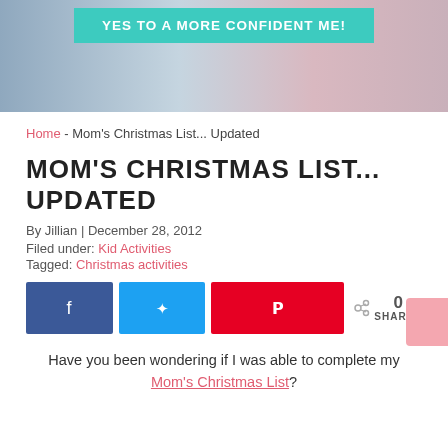[Figure (photo): Banner image with people in background and a teal call-to-action button reading 'YES TO A MORE CONFIDENT ME!']
Home - Mom's Christmas List... Updated
MOM'S CHRISTMAS LIST... UPDATED
By Jillian | December 28, 2012
Filed under: Kid Activities
Tagged: Christmas activities
[Figure (infographic): Social share buttons: Facebook (blue), Twitter (cyan), Pinterest (red), and a share count showing 0 SHARES]
Have you been wondering if I was able to complete my
Mom's Christmas List?